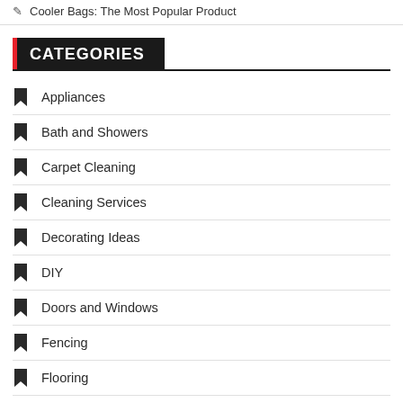Cooler Bags: The Most Popular Product
CATEGORIES
Appliances
Bath and Showers
Carpet Cleaning
Cleaning Services
Decorating Ideas
DIY
Doors and Windows
Fencing
Flooring